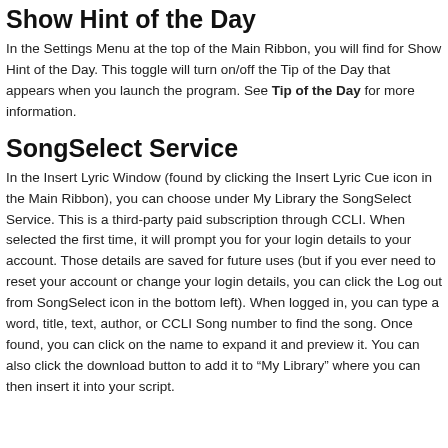Show Hint of the Day
In the Settings Menu at the top of the Main Ribbon, you will find for Show Hint of the Day. This toggle will turn on/off the Tip of the Day that appears when you launch the program. See Tip of the Day for more information.
SongSelect Service
In the Insert Lyric Window (found by clicking the Insert Lyric Cue icon in the Main Ribbon), you can choose under My Library the SongSelect Service. This is a third-party paid subscription through CCLI. When selected the first time, it will prompt you for your login details to your account. Those details are saved for future uses (but if you ever need to reset your account or change your login details, you can click the Log out from SongSelect icon in the bottom left). When logged in, you can type a word, title, text, author, or CCLI Song number to find the song. Once found, you can click on the name to expand it and preview it. You can also click the download button to add it to “My Library” where you can then insert it into your script.